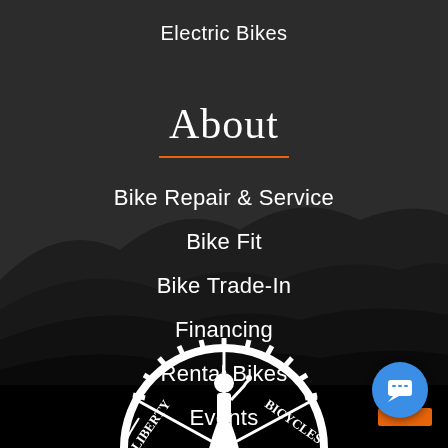Electric Bikes
About
Bike Repair & Service
Bike Fit
Bike Trade-In
Financing
Rental Bikes
Events
[Figure (logo): Liberty Bicycles logo — a gear wheel with the Statue of Liberty figure in the center, white on black background, partially visible at bottom of page]